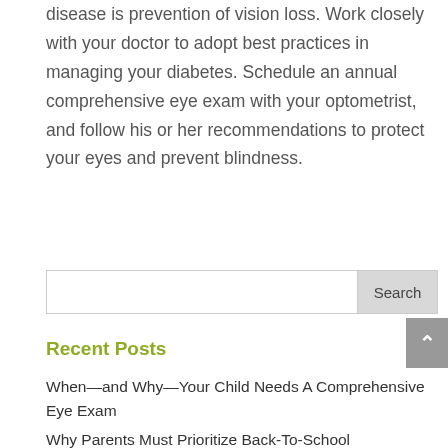disease is prevention of vision loss. Work closely with your doctor to adopt best practices in managing your diabetes. Schedule an annual comprehensive eye exam with your optometrist, and follow his or her recommendations to protect your eyes and prevent blindness.
Recent Posts
When—and Why—Your Child Needs A Comprehensive Eye Exam
Why Parents Must Prioritize Back-To-School